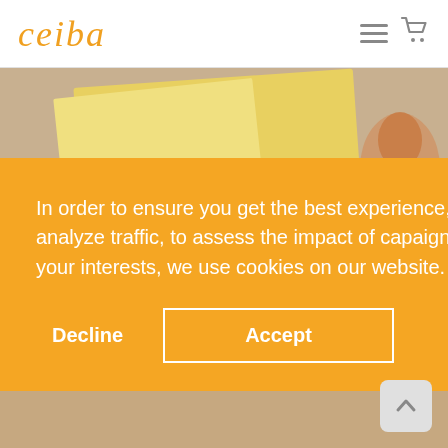ceiba
[Figure (photo): Background photo of printed photos/magazines laid on a surface, partially visible behind the cookie consent overlay]
In order to ensure you get the best experience, to provide secure access, to analyze traffic, to assess the impact of capaigns, and to deliver content tailored to your interests, we use cookies on our website.
Decline
Accept